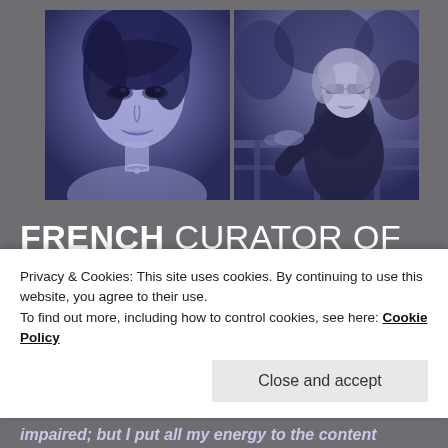[Figure (photo): Two blue-tinted photos side by side: left shows a young woman with dark hair and dramatic makeup; right shows a blonde woman with sunglasses outdoors near a bench.]
FRENCH CURATOR OF ARTISTIC CONTENT
Creative Artist, painter and sculptor.
Privacy & Cookies: This site uses cookies. By continuing to use this website, you agree to their use.
To find out more, including how to control cookies, see here: Cookie Policy
Close and accept
impaired; but I put all my energy to the content